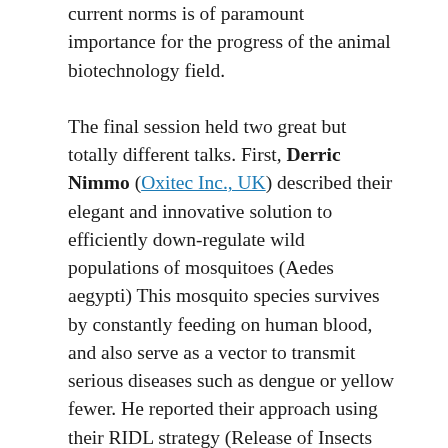current norms is of paramount importance for the progress of the animal biotechnology field.
The final session held two great but totally different talks. First, Derric Nimmo (Oxitec Inc., UK) described their elegant and innovative solution to efficiently down-regulate wild populations of mosquitoes (Aedes aegypti) This mosquito species survives by constantly feeding on human blood, and also serve as a vector to transmit serious diseases such as dengue or yellow fewer. He reported their approach using their RIDL strategy (Release of Insects with Dominant Lethality). The mechanism is based on a modified TET-off system where the tTA-VP16 activator is